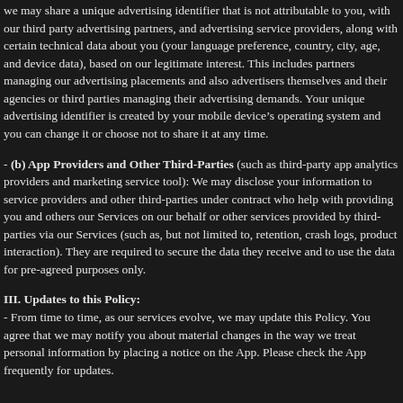we may share a unique advertising identifier that is not attributable to you, with our third party advertising partners, and advertising service providers, along with certain technical data about you (your language preference, country, city, age, and device data), based on our legitimate interest. This includes partners managing our advertising placements and also advertisers themselves and their agencies or third parties managing their advertising demands. Your unique advertising identifier is created by your mobile device's operating system and you can change it or choose not to share it at any time.
- (b) App Providers and Other Third-Parties (such as third-party app analytics providers and marketing service tool): We may disclose your information to service providers and other third-parties under contract who help with providing you and others our Services on our behalf or other services provided by third-parties via our Services (such as, but not limited to, retention, crash logs, product interaction). They are required to secure the data they receive and to use the data for pre-agreed purposes only.
III. Updates to this Policy:
- From time to time, as our services evolve, we may update this Policy. You agree that we may notify you about material changes in the way we treat personal information by placing a notice on the App. Please check the App frequently for updates.